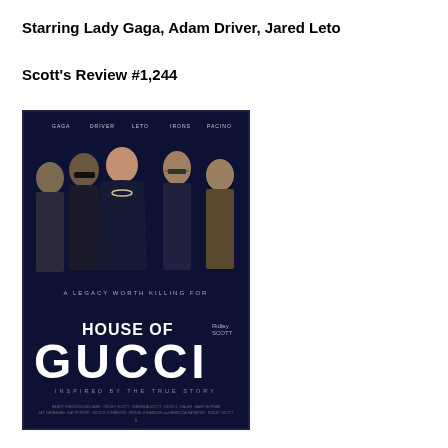Starring Lady Gaga, Adam Driver, Jared Leto
Scott's Review #1,244
[Figure (photo): Movie poster for House of Gucci. Shows five cast members dressed in dark formal attire against a dark background. Text reads: GAGA, DRIVER, LETO, IRONS, PACINO at the top. Tagline: A LEGACY WORTH KILLING FOR. Title: HOUSE OF GUCCI. Subtitle: INSPIRED BY THE TRUE STORY. Directed by Ridley Scott.]